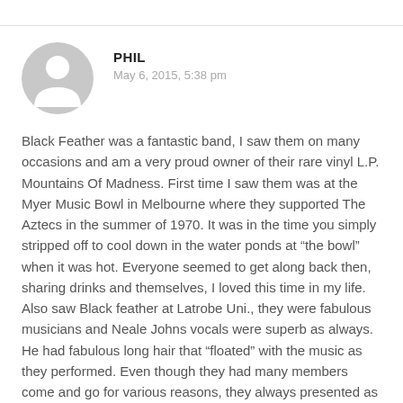PHIL
May 6, 2015, 5:38 pm
Black Feather was a fantastic band, I saw them on many occasions and am a very proud owner of their rare vinyl L.P. Mountains Of Madness. First time I saw them was at the Myer Music Bowl in Melbourne where they supported The Aztecs in the summer of 1970. It was in the time you simply stripped off to cool down in the water ponds at “the bowl” when it was hot. Everyone seemed to get along back then, sharing drinks and themselves, I loved this time in my life. Also saw Black feather at Latrobe Uni., they were fabulous musicians and Neale Johns vocals were superb as always. He had fabulous long hair that “floated” with the music as they performed. Even though they had many members come and go for various reasons, they always presented as a very tight unit. Great memories for me (and many others)